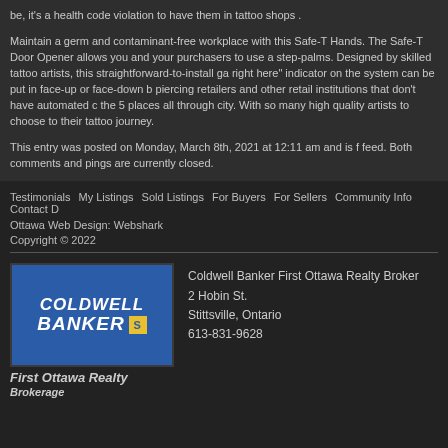be, it's a health code violation to have them in tattoo shops .
Maintain a germ and contaminant-free workplace with this Safe-T Hands. The Safe-T Door Opener allows you and your purchasers to use a step-palms. Designed by skilled tattoo artists, this straightforward-to-install ga right here" indicator on the system can be put in face-up or face-down b piercing retailers and other retail institutions that don't have automated c the 5 places all through city. With so many high quality artists to choose to their tattoo journey.
This entry was posted on Monday, March 8th, 2021 at 12:11 am and is f feed. Both comments and pings are currently closed.
Testimonials   My Listings   Sold Listings   For Buyers   For Sellers   Community Info   Contact D
Ottawa Web Design: Webshark
Copyright © 2022
[Figure (logo): Coldwell Banker logo in blue rectangle with yellow shield icon]
First Ottawa Realty
Brokerage
Coldwell Banker First Ottawa Realty Broker
2 Hobin St.
Stittsville, Ontario
613-831-9628